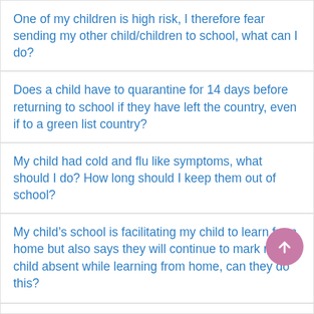One of my children is high risk, I therefore fear sending my other child/children to school, what can I do?
Does a child have to quarantine for 14 days before returning to school if they have left the country, even if to a green list country?
My child had cold and flu like symptoms, what should I do? How long should I keep them out of school?
My child’s school is facilitating my child to learn from home but also says they will continue to mark my child absent while learning from home, can they do this?
My child is learning from home with the help of the